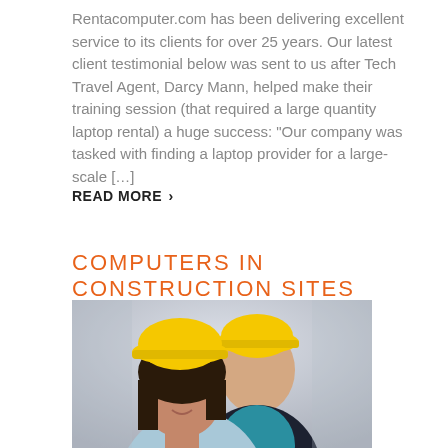Rentacomputer.com has been delivering excellent service to its clients for over 25 years. Our latest client testimonial below was sent to us after Tech Travel Agent, Darcy Mann, helped make their training session (that required a large quantity laptop rental) a huge success: "Our company was tasked with finding a laptop provider for a large-scale […]
READ MORE ›
COMPUTERS IN CONSTRUCTION SITES
[Figure (photo): Two construction workers wearing yellow hard hats, a woman in the foreground smiling and a man behind her, both in professional attire]